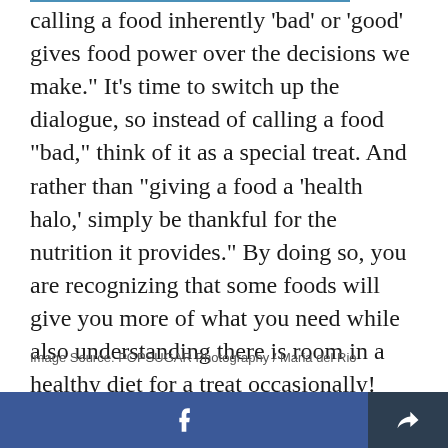calling a food inherently 'bad' or 'good' gives food power over the decisions we make." It's time to switch up the dialogue, so instead of calling a food "bad," think of it as a special treat. And rather than "giving a food a 'health halo,' simply be thankful for the nutrition it provides." By doing so, you are recognizing that some foods will give you more of what you need while also understanding there is room in a healthy diet for a treat occasionally!
Image Source: POPSUGAR Photography / Maria del Rio